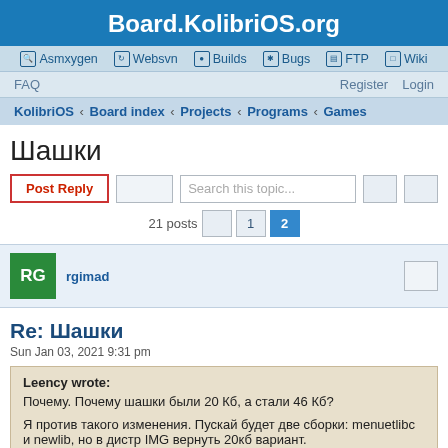Board.KolibriOS.org
Asmxygen  Websvn  Builds  Bugs  FTP  Wiki
FAQ    Register  Login
KolibriOS › Board index › Projects › Programs › Games
Шашки
Post Reply  [search box] Search this topic...  21 posts  1  2
rgimad
Re: Шашки
Sun Jan 03, 2021 9:31 pm
Leency wrote:
Почему. Почему шашки были 20 Кб, а стали 46 Кб?

Я против такого изменения. Пускай будет две сборки: menuetlibc и newlib, но в дистр IMG вернуть 20кб вариант.